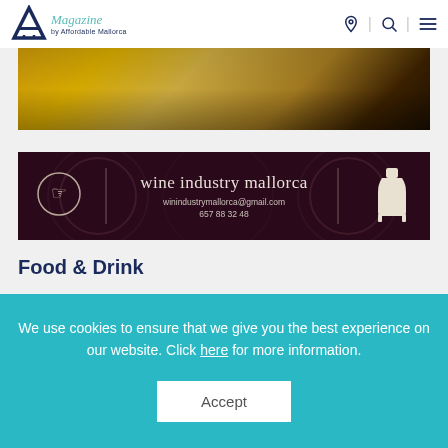A Magazine by Affordable Mallorca
[Figure (photo): Hero image showing a golden/warm-toned close-up photo, likely of food or wine]
[Figure (infographic): Dark maroon banner advertisement for 'wine industry mallorca' with email winindustrymallorca@gmail.com and phone 657 88 32 48, with decorative circle icon on left and wine bottle icon on right]
Food & Drink
We use cookies to ensure that we give you the best experience on our website. Click here for more information.
Accept